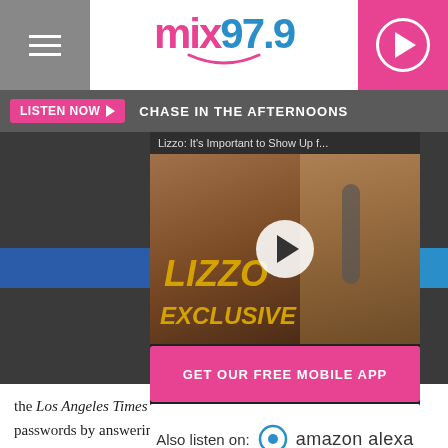mix97.9
LISTEN NOW  CHASE IN THE AFTERNOONS
[Figure (screenshot): Video thumbnail showing Lizzo with text 'LIZZO EXCLUSIVE' and a play button overlay. Title bar reads: 'Lizzo: It's Important to Show Up f...']
GET OUR FREE MOBILE APP
Also listen on:  amazon alexa
the Los Angeles Times that the young woman reset Gomez's passwords by answering security questions based on